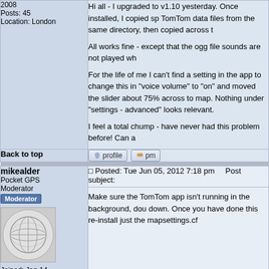Posts: 45
Location: London
Hi all - I upgraded to v1.10 yesterday. Once installed, I copied sp TomTom data files from the same directory, then copied across t

All works fine - except that the ogg file sounds are not played wh

For the life of me I can't find a setting in the app to change this in "voice volume" to "on" and moved the slider about 75% across to map. Nothing under "settings - advanced" looks relevant.

I feel a total chump - have never had this problem before! Can a
Back to top
mikealder
Pocket GPS Moderator
Posted: Tue Jun 05, 2012 7:18 pm    Post subject:
Make sure the TomTom app isn't running in the background, dou down. Once you have done this re-install just the mapsettings.cf
Joined: Jan 14, 2005
Posts: 19638
Location: Blackpool , Lancs
Back to top